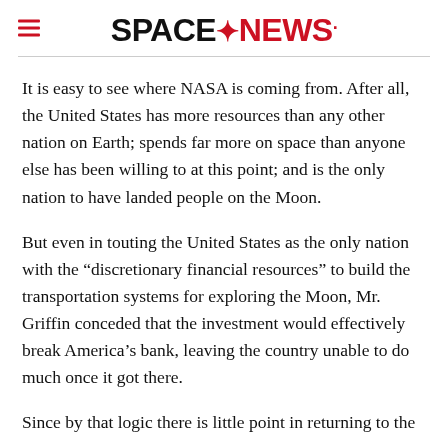SPACENEWS
It is easy to see where NASA is coming from. After all, the United States has more resources than any other nation on Earth; spends far more on space than anyone else has been willing to at this point; and is the only nation to have landed people on the Moon.
But even in touting the United States as the only nation with the “discretionary financial resources” to build the transportation systems for exploring the Moon, Mr. Griffin conceded that the investment would effectively break America’s bank, leaving the country unable to do much once it got there.
Since by that logic there is little point in returning to the